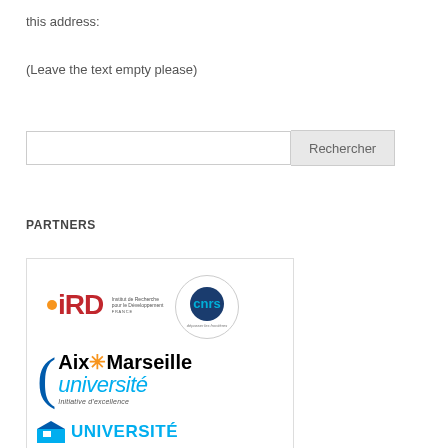this address:
(Leave the text empty please)
Rechercher
PARTNERS
[Figure (logo): Partners logos including IRD (Institut de Recherche pour le Développement), CNRS (dépasser les frontières), Aix-Marseille Université Initiative d'excellence, and UNIVERSITÉ (partially visible at bottom)]